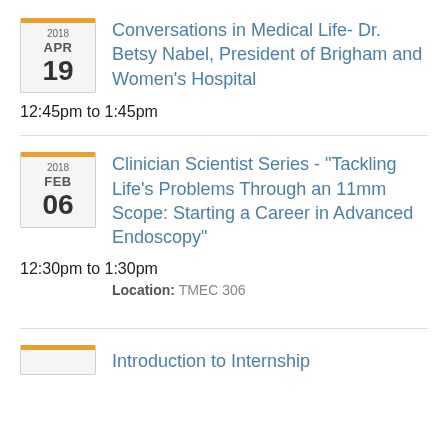Conversations in Medical Life- Dr. Betsy Nabel, President of Brigham and Women's Hospital
12:45pm to 1:45pm
Clinician Scientist Series - "Tackling Life's Problems Through an 11mm Scope: Starting a Career in Advanced Endoscopy"
12:30pm to 1:30pm
Location: TMEC 306
Introduction to Internship